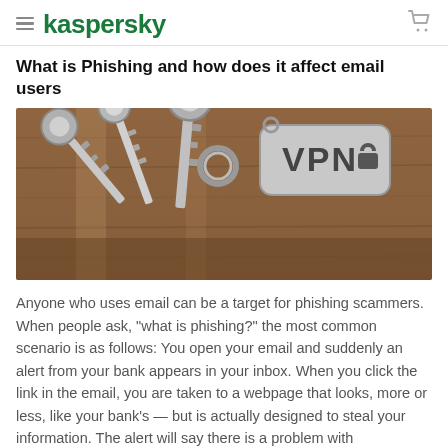kaspersky
What is Phishing and how does it affect email users
[Figure (photo): A set of silver keys on a keyring with a metal tag that reads 'VPN' with a padlock icon, resting on a wooden surface.]
Anyone who uses email can be a target for phishing scammers. When people ask, "what is phishing?" the most common scenario is as follows: You open your email and suddenly an alert from your bank appears in your inbox. When you click the link in the email, you are taken to a webpage that looks, more or less, like your bank's — but is actually designed to steal your information. The alert will say there is a problem with